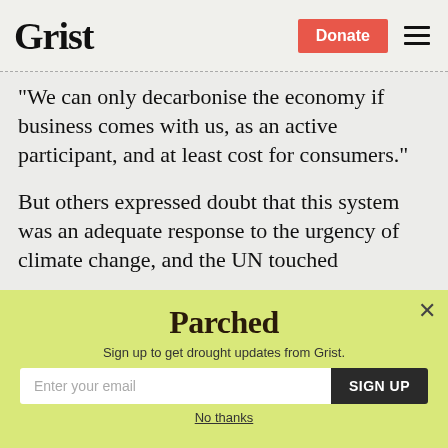Grist | Donate
“We can only decarbonise the economy if business comes with us, as an active participant, and at least cost for consumers.”
But others expressed doubt that this system was an adequate response to the urgency of climate change, and the UN touched
[Figure (screenshot): Parched newsletter signup modal popup with yellow-green background. Title reads 'Parched', subtitle 'Sign up to get drought updates from Grist.' with an email input field and SIGN UP button, and a 'No thanks' link below. A close (X) button is in the top right.]